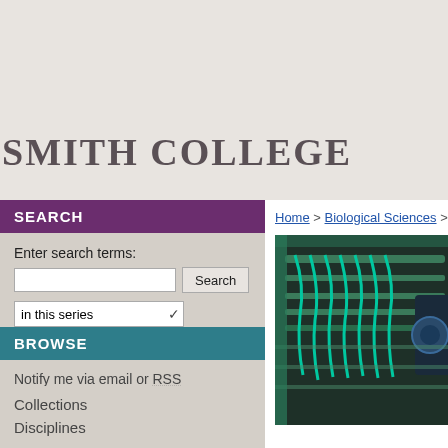Smith College
SEARCH
Enter search terms:
in this series
Advanced Search
Notify me via email or RSS
BROWSE
Collections
Disciplines
Home > Biological Sciences > Fa...
[Figure (photo): Laboratory equipment photo showing tubes and machinery in teal/green colors]